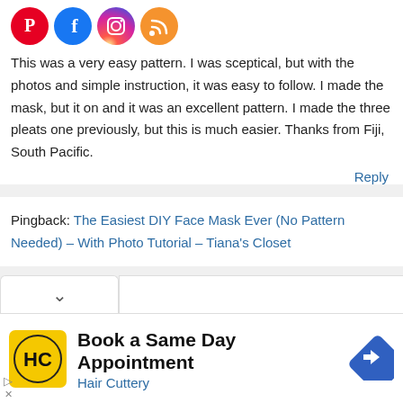[Figure (other): Social media icons: Pinterest (red circle), Facebook (blue circle), Instagram (gradient circle), RSS (orange circle)]
This was a very easy pattern. I was sceptical, but with the photos and simple instruction, it was easy to follow. I made the mask, but it on and it was an excellent pattern. I made the three pleats one previously, but this is much easier. Thanks from Fiji, South Pacific.
Reply
Pingback: The Easiest DIY Face Mask Ever (No Pattern Needed) – With Photo Tutorial – Tiana's Closet
[Figure (other): Advertisement: Book a Same Day Appointment – Hair Cuttery, with Hair Cuttery logo and navigation arrow icon]